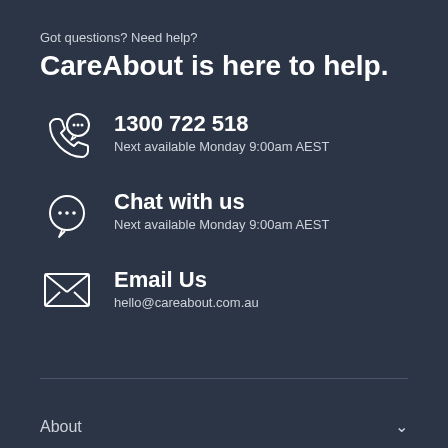Got questions? Need help?
CareAbout is here to help.
1300 722 518
Next available Monday 9:00am AEST
Chat with us
Next available Monday 9:00am AEST
Email Us
hello@careabout.com.au
About